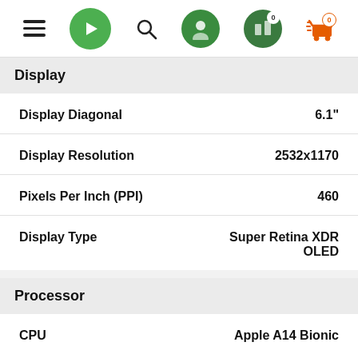[Figure (screenshot): Navigation bar with hamburger menu, green play button, search icon, user icon, compare icon with badge 0, and orange cart icon with badge 0]
Display
| Spec | Value |
| --- | --- |
| Display Diagonal | 6.1" |
| Display Resolution | 2532x1170 |
| Pixels Per Inch (PPI) | 460 |
| Display Type | Super Retina XDR OLED |
Processor
| Spec | Value |
| --- | --- |
| CPU | Apple A14 Bionic |